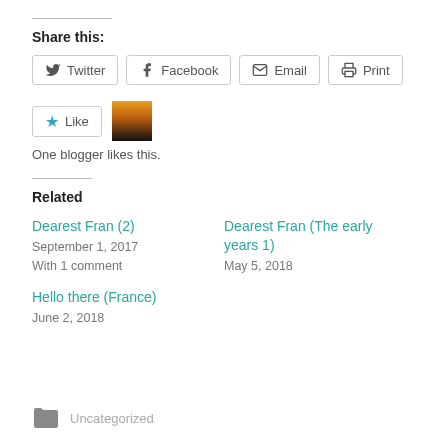Share this:
Twitter
Facebook
Email
Print
One blogger likes this.
Related
Dearest Fran (2)
September 1, 2017
With 1 comment
Dearest Fran (The early years 1)
May 5, 2018
Hello there (France)
June 2, 2018
Uncategorized